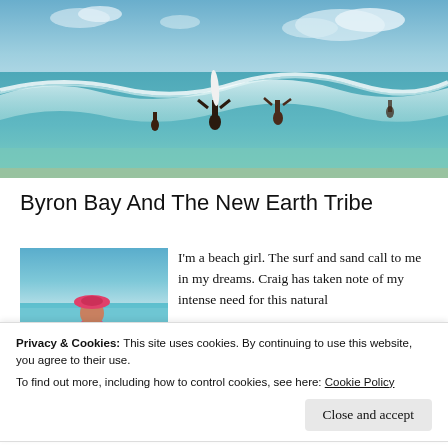[Figure (photo): Beach/ocean scene with people in the surf, one person holding a surfboard up in the waves, turquoise water and blue sky with clouds]
Byron Bay And The New Earth Tribe
[Figure (photo): Woman in pink hat and swimsuit standing on a beach with blue water behind her]
I'm a beach girl. The surf and sand call to me in my dreams. Craig has taken note of my intense need for this natural
Privacy & Cookies: This site uses cookies. By continuing to use this website, you agree to their use.
To find out more, including how to control cookies, see here: Cookie Policy
Close and accept
north as Yamba. We had 2 days free between shows and had